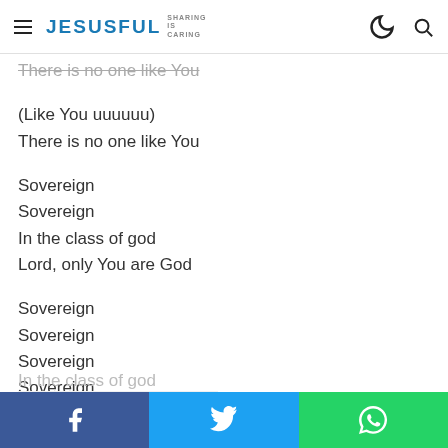JESUSFUL SHARING IS CARING
There is no one like You
(Like You uuuuuu)
There is no one like You
Sovereign
Sovereign
In the class of god
Lord, only You are God
Sovereign
Sovereign
Sovereign
Sovereign
Facebook | Twitter | WhatsApp